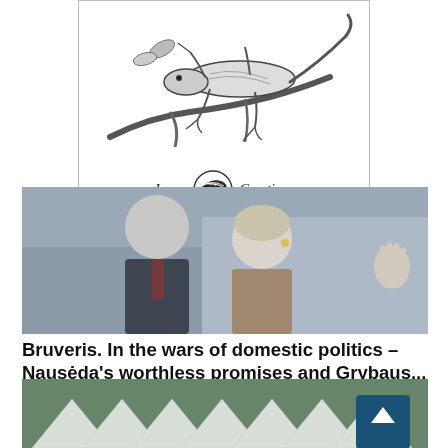[Figure (illustration): Advertisement banner for Jurga Creations showing a detailed pencil illustration of a lizard on branches, with a yarn ball logo, brand name 'Jurga Creations' in italic script, and a yellow 'See More Art' button.]
[Figure (photo): Photo of two people standing outdoors: a man in a dark suit on the left (slightly blurred) and a blonde woman in the center wearing earrings, with a hand raised to the right. Political event context (Lithuanian politicians Nausėda and Grybauskaitė).]
Bruveris. In the wars of domestic politics – Nausėda's worthless promises and Grybaus...
[Figure (photo): Partially visible photo at the bottom of white triangular tent/canopy structures against a green background, appearing to be an outdoor event.]